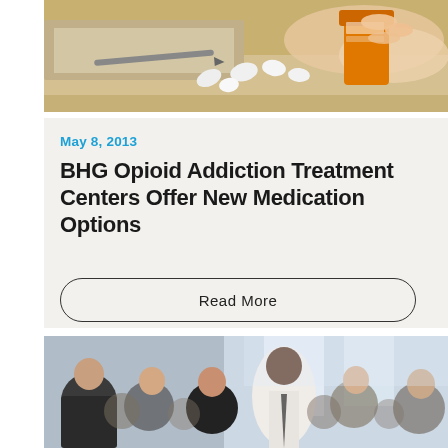[Figure (photo): Close-up photo of hands holding a prescription pill bottle with white tablets/pills scattered on a surface, suggesting medication/pharmacy context]
May 8, 2013
BHG Opioid Addiction Treatment Centers Offer New Medication Options
Read More
[Figure (photo): Photo of a diverse group of professionals/people seated in an audience, looking attentively at something off-camera, in a bright modern room]